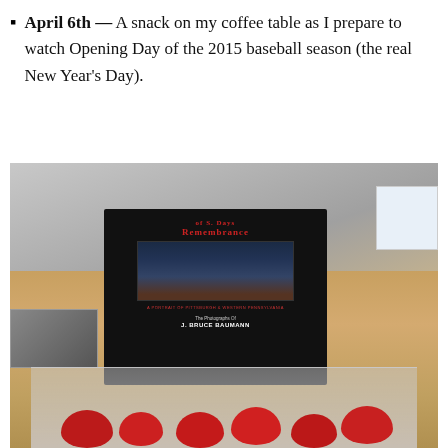April 6th — A snack on my coffee table as I prepare to watch Opening Day of the 2015 baseball season (the real New Year's Day).
[Figure (photo): A coffee table with a book titled 'Days of Sweet Remembrance: A Portrait of Pittsburgh & Western Pennsylvania, The Photographs of J. Bruce Baumann', a container of strawberries, and other items on the table.]